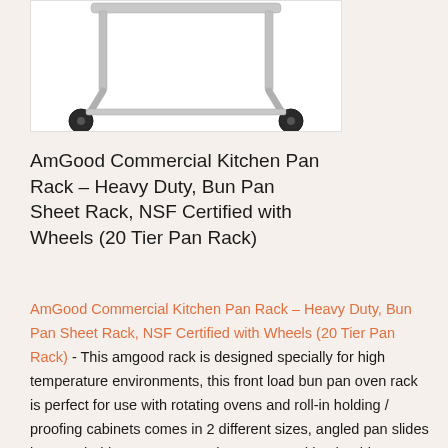[Figure (photo): Partial view of a commercial kitchen pan rack showing the bottom frame with wheels/casters and upper bar, silver/aluminum construction, white background]
AmGood Commercial Kitchen Pan Rack – Heavy Duty, Bun Pan Sheet Rack, NSF Certified with Wheels (20 Tier Pan Rack)
AmGood Commercial Kitchen Pan Rack – Heavy Duty, Bun Pan Sheet Rack, NSF Certified with Wheels (20 Tier Pan Rack) - This amgood rack is designed specially for high temperature environments, this front load bun pan oven rack is perfect for use with rotating ovens and roll-in holding / proofing cabinets comes in 2 different sizes, angled pan slides lets you hold up to 10 or 20 sheet pans and its durable aluminum construction is sure to provide years of reliable use. Ships un-assembled for easy